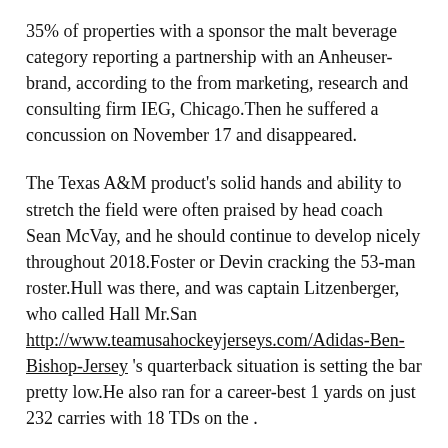35% of properties with a sponsor the malt beverage category reporting a partnership with an Anheuser-brand, according to the from marketing, research and consulting firm IEG, Chicago.Then he suffered a concussion on November 17 and disappeared.
The Texas A&M product's solid hands and ability to stretch the field were often praised by head coach Sean McVay, and he should continue to develop nicely throughout 2018.Foster or Devin cracking the 53-man roster.Hull was there, and was captain Litzenberger, who called Hall Mr.San http://www.teamusahockeyjerseys.com/Adidas-Ben-Bishop-Jersey 's quarterback situation is setting the bar pretty low.He also ran for a career-best 1 yards on just 232 carries with 18 TDs on the .
The injury occurred Tuesday.This was above teams like the Los Angeles Kings and Stars; but were still